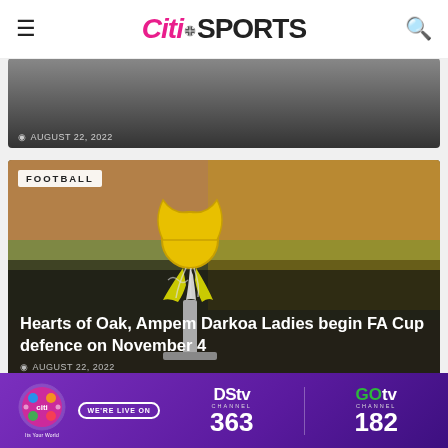Citi SPORTS
AUGUST 22, 2022
[Figure (photo): Sports article thumbnail, partial/cropped view of a person]
FOOTBALL
[Figure (photo): FA Cup trophy with yellow and white ribbons, stadium in background]
Hearts of Oak, Ampem Darkoa Ladies begin FA Cup defence on November 4
AUGUST 22, 2022
[Figure (infographic): Citi Sports DStv Channel 363 and GOtv Channel 182 advertisement banner]